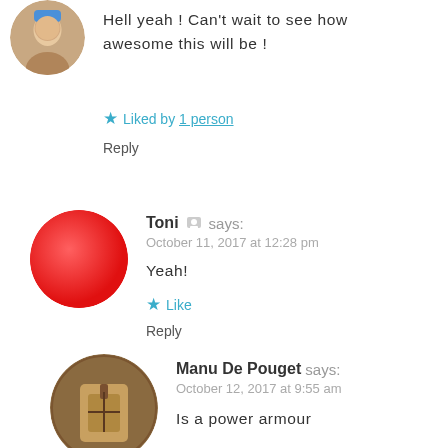[Figure (photo): Circular avatar image of a person at top left]
Hell yeah ! Can't wait to see how awesome this will be !
★ Liked by 1 person
Reply
[Figure (illustration): Red circle avatar for user Toni]
Toni 🧑 says:
October 11, 2017 at 12:28 pm
Yeah!
★ Like
Reply
[Figure (photo): Circular avatar image of Manu De Pouget]
Manu De Pouget says:
October 12, 2017 at 9:55 am
Is a power armour